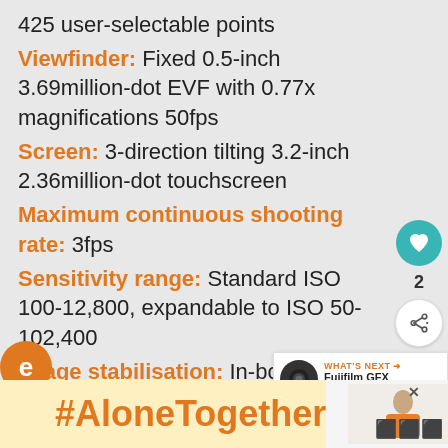425 user-selectable points
Viewfinder: Fixed 0.5-inch 3.69million-dot EVF with 0.77x magnifications 50fps
Screen: 3-direction tilting 3.2-inch 2.36million-dot touchscreen
Maximum continuous shooting rate: 3fps
Sensitivity range: Standard ISO 100-12,800, expandable to ISO 50-102,400
Image stabilisation: In-body 5-axis giving 6.5EV compensati...
Max video resolution: Full-HD (1920 x 1080) 4:2:0 8-bit
#AloneTogether